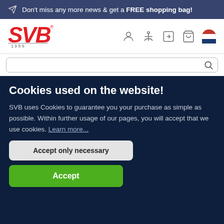Don't miss any more news & get a FREE shopping bag!
[Figure (logo): SVB logo with red italic text and 1989 text underneath]
Cookies used on the website!
SVB uses Cookies to guarantee you your purchase as simple as possible. Within further usage of our pages, you will accept that we use cookies. Learn more...
Accept only necessary
Accept